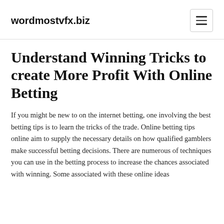wordmostvfx.biz
Understand Winning Tricks to create More Profit With Online Betting
If you might be new to on the internet betting, one involving the best betting tips is to learn the tricks of the trade. Online betting tips online aim to supply the necessary details on how qualified gamblers make successful betting decisions. There are numerous of techniques you can use in the betting process to increase the chances associated with winning. Some associated with these online ideas are discussed below...